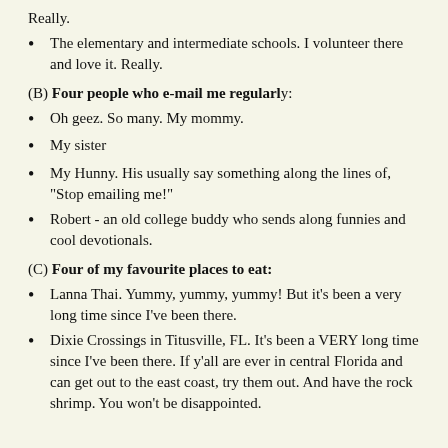Really.
The elementary and intermediate schools. I volunteer there and love it. Really.
(B) Four people who e-mail me regularly:
Oh geez. So many. My mommy.
My sister
My Hunny. His usually say something along the lines of, "Stop emailing me!"
Robert - an old college buddy who sends along funnies and cool devotionals.
(C) Four of my favourite places to eat:
Lanna Thai. Yummy, yummy, yummy! But it's been a very long time since I've been there.
Dixie Crossings in Titusville, FL. It's been a VERY long time since I've been there. If y'all are ever in central Florida and can get out to the east coast, try them out. And have the rock shrimp. You won't be disappointed.